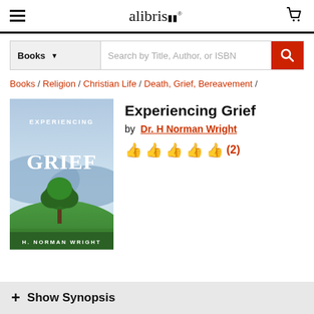alibris
Books | Search by Title, Author, or ISBN
Books / Religion / Christian Life / Death, Grief, Bereavement /
Experiencing Grief
by Dr. H Norman Wright
👍👍👍👍👍 (2)
[Figure (photo): Book cover of 'Experiencing Grief' by H. Norman Wright, showing a lone tree on a green hill with a blue sky and mountains in the background]
+ Show Synopsis